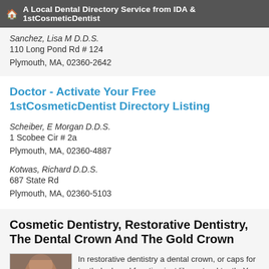A Local Dental Directory Service from IDA & 1stCosmeticDentist
Sanchez, Lisa M D.D.S.
110 Long Pond Rd # 124
Plymouth, MA, 02360-2642
Doctor - Activate Your Free 1stCosmeticDentist Directory Listing
Scheiber, E Morgan D.D.S.
1 Scobee Cir # 2a
Plymouth, MA, 02360-4887
Kotwas, Richard D.D.S.
687 State Rd
Plymouth, MA, 02360-5103
Cosmetic Dentistry, Restorative Dentistry, The Dental Crown And The Gold Crown
[Figure (photo): Close-up photo of a person's face, cropped to show forehead and eyes area]
In restorative dentistry a dental crown, or caps for teeth, look and function just like natural teeth. You can retain the size, appearance and shape of...